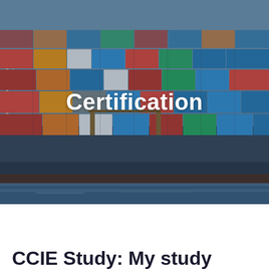[Figure (photo): A large cargo container ship loaded with colorful shipping containers (red, blue, orange, green, white) photographed from the side at water level. The image has a slightly darkened/overlay appearance. The word 'Certification' appears in large white bold text overlaid in the center of the image.]
CCIE Study: My study